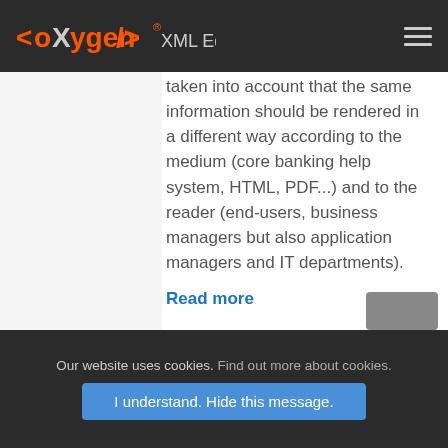<oXygen/> XML Editor
taken into account that the same information should be rendered in a different way according to the medium (core banking help system, HTML, PDF...) and to the reader (end-users, business managers but also application managers and IT departments).
Read more
Our website uses cookies. Find out more about cookies. I understand. Hide this message.